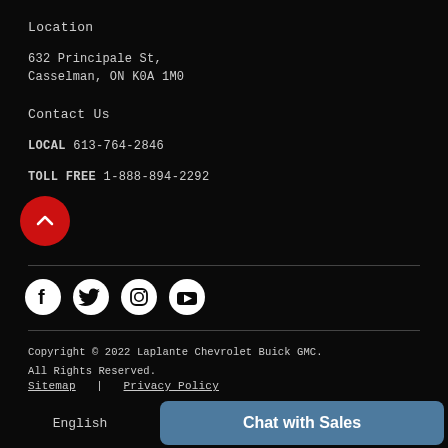Location
632 Principale St,
Casselman, ON K0A 1M0
Contact Us
LOCAL 613-764-2846
TOLL FREE 1-888-894-2292
[Figure (illustration): Red circle button with white chevron/arrow pointing up (back to top button)]
[Figure (illustration): Social media icons: Facebook, Twitter, Instagram, YouTube — white icons on dark background]
Copyright © 2022 Laplante Chevrolet Buick GMC. All Rights Reserved.
Sitemap  |  Privacy Policy
[Figure (logo): POWERED BY EDealer logo with blue horizontal lines and white text]
English
Chat with Sales